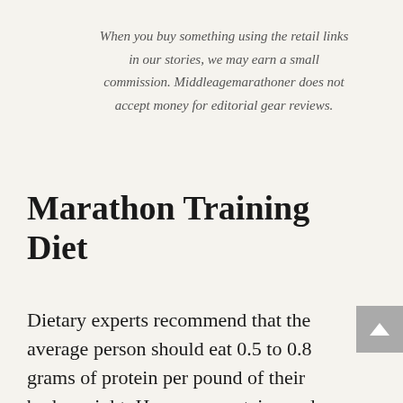When you buy something using the retail links in our stories, we may earn a small commission. Middleagemarathoner does not accept money for editorial gear reviews.
Marathon Training Diet
Dietary experts recommend that the average person should eat 0.5 to 0.8 grams of protein per pound of their body weight. However, protein needs for long distance runners are higher. Depending on the athlete's training demands,